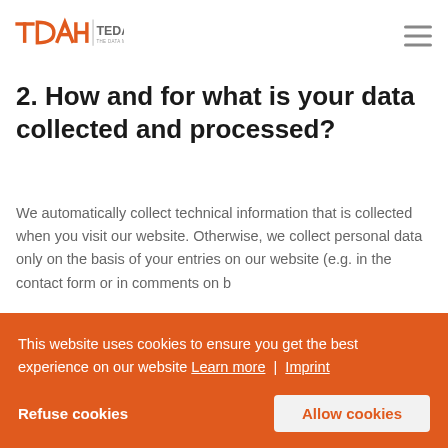TEDAMOH – THE DATA MODELING HUB
2. How and for what is your data collected and processed?
We automatically collect technical information that is collected when you visit our website. Otherwise, we collect personal data only on the basis of your entries on our website (e.g. in the contact form or in comments on b...
This website uses cookies to ensure you get the best experience on our website Learn more | Imprint
pseudonymous user profiles.